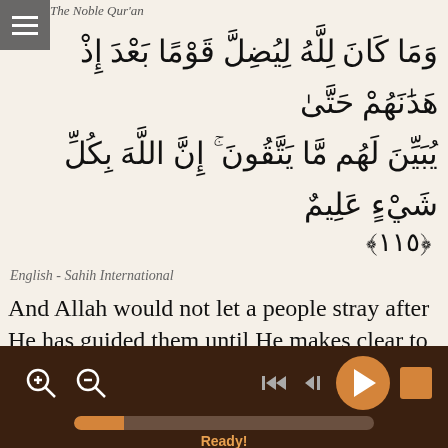The Noble Qur'an
وَمَا كَانَ لِلَّهُ لِيُضِلَّ قَوْمًا بَعْدَ إِذْ هَدَٰنَهُمْ حَتَّىٰ يُبَيِّنَ لَهُم مَّا يَتَّقُونَ ۚ إِنَّ اللَّهَ بِكُلِّ شَيْءٍ عَلِيمٌ ﴿١١٥﴾
English - Sahih International
And Allah would not let a people stray after He has guided them until He makes clear to them what they should avoid. Indeed, Allah is Knowing of all things.(115)